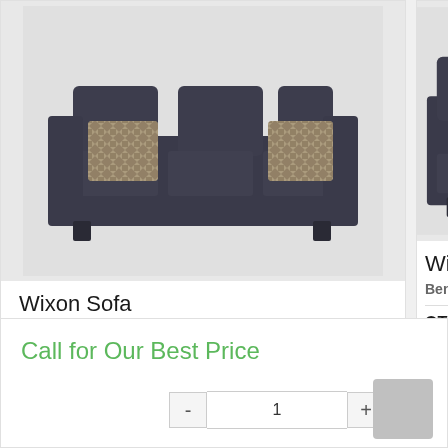[Figure (photo): Dark charcoal gray sofa with patterned accent pillows - Wixon Sofa by Benchcraft]
Wixon Sofa
Benchcraft 5700238
QTY: 1
[Figure (photo): Partial view of dark charcoal Wixon loveseat or chair by Benchcraft with patterned pillow]
Wixon
Benchcraft
QTY: 1
Call for Our Best Price
1